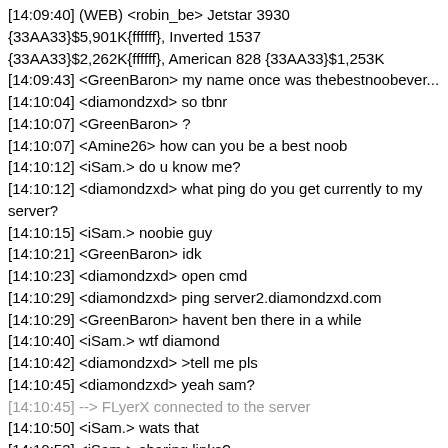[14:09:40] (WEB) <robin_be> Jetstar 3930 {33AA33}$5,901K{ffffff}, Inverted 1537 {33AA33}$2,262K{ffffff}, American 828 {33AA33}$1,253K
[14:09:43] <GreenBaron> my name once was thebestnoobever...
[14:10:04] <diamondzxd> so tbnr
[14:10:07] <GreenBaron> ?
[14:10:07] <Amine26> how can you be a best noob
[14:10:12] <iSam.> do u know me?
[14:10:12] <diamondzxd> what ping do you get currently to my server?
[14:10:15] <iSam.> noobie guy
[14:10:21] <GreenBaron> idk
[14:10:23] <diamondzxd> open cmd
[14:10:29] <diamondzxd> ping server2.diamondzxd.com
[14:10:29] <GreenBaron> havent ben there in a while
[14:10:40] <iSam.> wtf diamond
[14:10:42] <diamondzxd> >tell me pls
[14:10:45] <diamondzxd> yeah sam?
[14:10:45] --> FLyerX connected to the server
[14:10:50] <iSam.> wats that
[14:10:53] <iSam.> sharing links?
[14:10:53] <iSam.> :/
[14:10:56] <diamondzxd> so
[14:11:01] <diamondzxd> am I advertising?
[14:11:04] <iSam.> isnt it caalled adv?